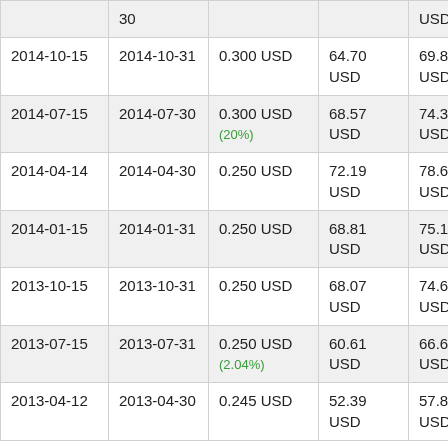|  | 30 |  |  | USD |
| 2014-10-15 | 2014-10-31 | 0.300 USD | 64.70 USD | 69.89 USD |
| 2014-07-15 | 2014-07-30 | 0.300 USD (20%) | 68.57 USD | 74.38 USD |
| 2014-04-14 | 2014-04-30 | 0.250 USD | 72.19 USD | 78.63 USD |
| 2014-01-15 | 2014-01-31 | 0.250 USD | 68.81 USD | 75.19 USD |
| 2013-10-15 | 2013-10-31 | 0.250 USD | 68.07 USD | 74.62 USD |
| 2013-07-15 | 2013-07-31 | 0.250 USD (2.04%) | 60.61 USD | 66.67 USD |
| 2013-04-12 | 2013-04-30 | 0.245 USD | 52.39 USD | 57.84 USD |